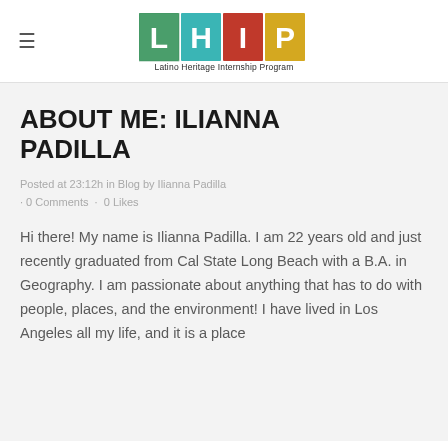[Figure (logo): LHIP - Latino Heritage Internship Program logo with colorful tiled letters L, H, I, P and tagline below]
ABOUT ME: ILIANNA PADILLA
Posted at 23:12h in Blog by Ilianna Padilla · 0 Comments · 0 Likes
Hi there! My name is Ilianna Padilla. I am 22 years old and just recently graduated from Cal State Long Beach with a B.A. in Geography. I am passionate about anything that has to do with people, places, and the environment! I have lived in Los Angeles all my life, and it is a place